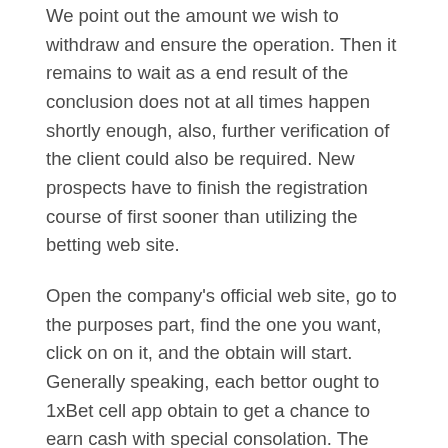We point out the amount we wish to withdraw and ensure the operation. Then it remains to wait as a end result of the conclusion does not at all times happen shortly enough, also, further verification of the client could also be required. New prospects have to finish the registration course of first sooner than utilizing the betting web site.
Open the company's official web site, go to the purposes part, find the one you want, click on on it, and the obtain will start. Generally speaking, each bettor ought to 1xBet cell app obtain to get a chance to earn cash with special consolation. The utility offers the identical capabilities as the official website, so the range of sports activities, on line casino games, 1xGames and different entertainment are enough for favourable steadiness enchancment. You ought to obtain 1xBet cell app to obtain and use all of the provides of this popular firm in any comfy place. The bookmaker's promo marketing campaign is considered to be one of the best available on the market, so customers will easily select probably the most profitable